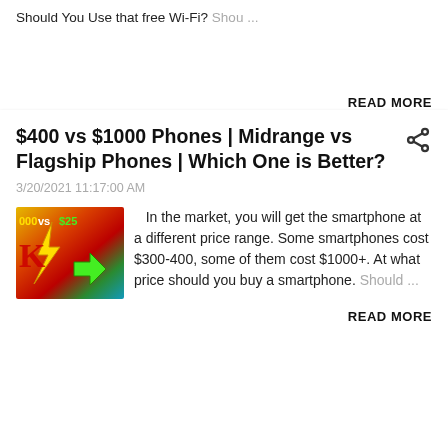Should You Use that free Wi-Fi? Shou ...
READ MORE
$400 vs $1000 Phones | Midrange vs Flagship Phones | Which One is Better?
3/20/2021 11:17:00 AM
[Figure (photo): Thumbnail image showing '000 vs $25' text with lightning bolt graphics on colorful background]
In the market, you will get the smartphone at a different price range. Some smartphones cost $300-400, some of them cost $1000+. At what price should you buy a smartphone. Should ...
READ MORE